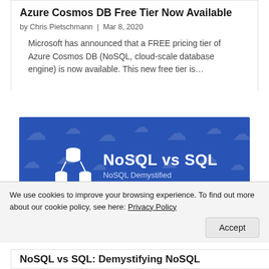Azure Cosmos DB Free Tier Now Available
by Chris Pietschmann | Mar 8, 2020
Microsoft has announced that a FREE pricing tier of Azure Cosmos DB (NoSQL, cloud-scale database engine) is now available. This new free tier is…
[Figure (illustration): Blue banner image with database icons and text 'NoSQL vs SQL' and subtitle 'NoSQL Demystified' on a blue background with cloud watermark patterns]
We use cookies to improve your browsing experience. To find out more about our cookie policy, see here: Privacy Policy
NoSQL vs SQL: Demystifying NoSQL